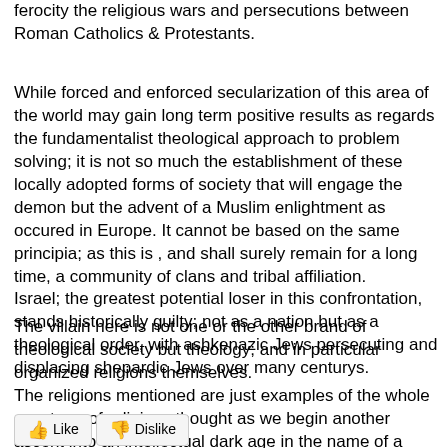ferocity the religious wars and persecutions between Roman Catholics & Protestants.
While forced and enforced secularization of this area of the world may gain long term positive results as regards the fundamentalist theological approach to problem solving; it is not so much the establishment of these locally adopted forms of society that will engage the demon but the advent of a Muslim enlightment as occured in Europe. It cannot be based on the same principia; as this is , and shall surely remain for a long time, a community of clans and tribal affiliation.
Israel; the greatest potential loser in this confrontation, stands historically guilty; not as a nation but as a theological order, with ashkenazic Jews persecuting and displacing shepardic Jews over many centurys.
The villain here is not one or the other brand of theological society but theology; and in particular organized religions themselves.
The religions mentioned are just examples of the whole spectrum of religious thought as we begin another ascent into an intellectual dark age in the name of a particular invisible man.
[Figure (other): Like and Dislike buttons at the bottom of the page]